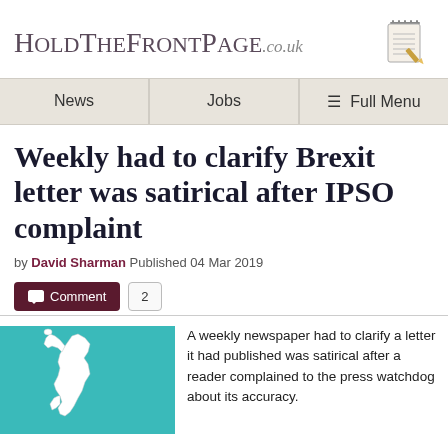HoldTheFrontPage.co.uk
News | Jobs | Full Menu
Weekly had to clarify Brexit letter was satirical after IPSO complaint
by David Sharman Published 04 Mar 2019
Comment 2
[Figure (illustration): Map of the United Kingdom in white outline on teal/turquoise background]
A weekly newspaper had to clarify a letter it had published was satirical after a reader complained to the press watchdog about its accuracy.